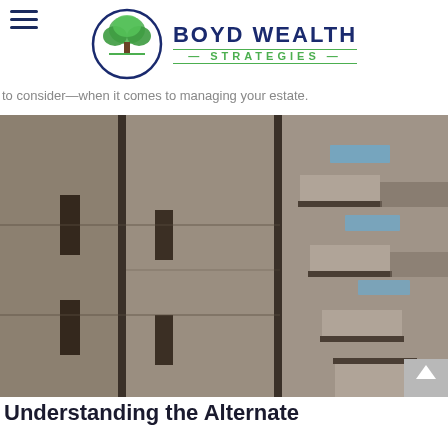Boyd Wealth Strategies
to consider—when it comes to managing your estate.
[Figure (photo): Close-up photograph of a modern building facade with angular concrete panels and geometric stepped/staircase-like projections, with blue sky visible in the upper right corner.]
Understanding the Alternate